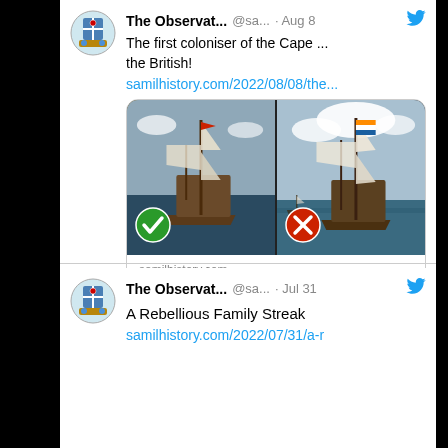[Figure (screenshot): Twitter/social media feed showing two tweets from 'The Observat...' (@sa...). First tweet dated Aug 8: 'The first coloniser of the Cape ... the British!' with link and image card showing two historical ship paintings with green checkmark and red X. Second tweet dated Jul 31: 'A Rebellious Family Streak' with link.]
The Observat... @sa... · Aug 8
The first coloniser of the Cape ... the British!
samilhistory.com/2022/08/08/the...
samilhistory.com
The first coloniser of the Cape ... the British!
The Observat... @sa... · Jul 31
A Rebellious Family Streak
samilhistory.com/2022/07/31/a-r